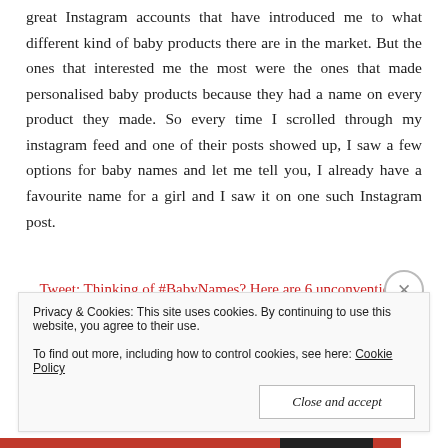great Instagram accounts that have introduced me to what different kind of baby products there are in the market. But the ones that interested me the most were the ones that made personalised baby products because they had a name on every product they made. So every time I scrolled through my instagram feed and one of their posts showed up, I saw a few options for baby names and let me tell you, I already have a favourite name for a girl and I saw it on one such Instagram post.
Tweet: Thinking of #BabyNames? Here are 6 unconventional resources besides books & websites! http://beingmammabear.blogspot.com/2016/08/6-unconventional-resources-for-baby.html via @beingmammabear
Privacy & Cookies: This site uses cookies. By continuing to use this website, you agree to their use. To find out more, including how to control cookies, see here: Cookie Policy